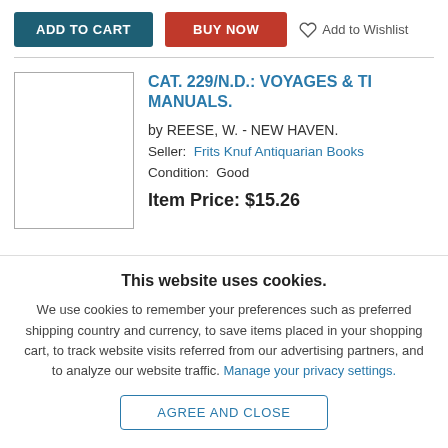ADD TO CART | BUY NOW | Add to Wishlist
CAT. 229/N.D.: VOYAGES & TI MANUALS.
by REESE, W. - NEW HAVEN.
Seller: Frits Knuf Antiquarian Books
Condition: Good
Item Price: $15.26
This website uses cookies.
We use cookies to remember your preferences such as preferred shipping country and currency, to save items placed in your shopping cart, to track website visits referred from our advertising partners, and to analyze our website traffic. Manage your privacy settings.
AGREE AND CLOSE